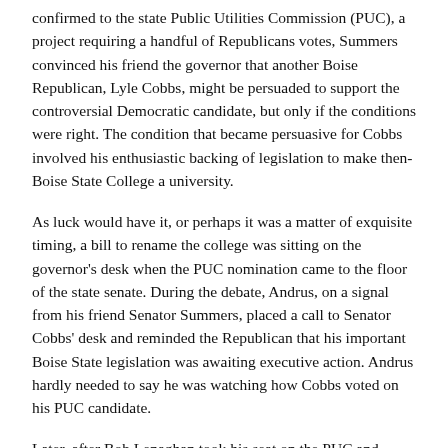confirmed to the state Public Utilities Commission (PUC), a project requiring a handful of Republicans votes, Summers convinced his friend the governor that another Boise Republican, Lyle Cobbs, might be persuaded to support the controversial Democratic candidate, but only if the conditions were right. The condition that became persuasive for Cobbs involved his enthusiastic backing of legislation to make then-Boise State College a university.
As luck would have it, or perhaps it was a matter of exquisite timing, a bill to rename the college was sitting on the governor's desk when the PUC nomination came to the floor of the state senate. During the debate, Andrus, on a signal from his friend Senator Summers, placed a call to Senator Cobbs' desk and reminded the Republican that his important Boise State legislation was awaiting executive action. Andrus hardly needed to say he was watching how Cobbs voted on his PUC candidate.
Later, after Bob Lenaghan took his seat on the PUC and while Andrus was signing the legislation to create Boise State University, Cobb jokingly asked: "You wouldn't have vetoed this bill would you, governor?" Andrus smiled and said, "You'll never know will you, Lyle?"